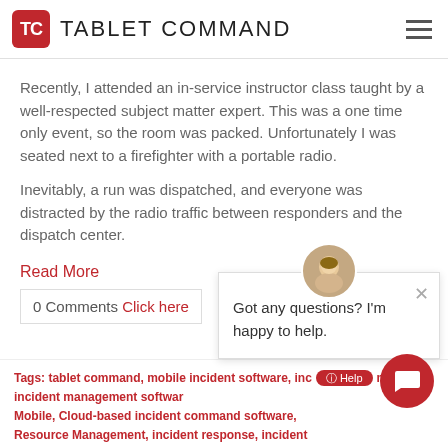TABLET COMMAND
Recently, I attended an in-service instructor class taught by a well-respected subject matter expert. This was a one time only event, so the room was packed. Unfortunately I was seated next to a firefighter with a portable radio.
Inevitably, a run was dispatched, and everyone was distracted by the radio traffic between responders and the dispatch center.
Read More
0 Comments Click here
Got any questions? I'm happy to help.
Tags: tablet command, mobile incident software, incident command, incident management software Mobile, Cloud-based incident command software, Resource Management, incident response, incident